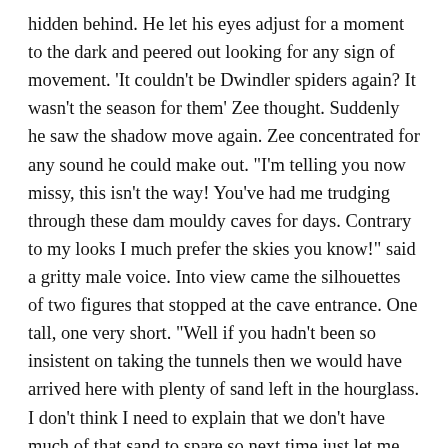hidden behind. He let his eyes adjust for a moment to the dark and peered out looking for any sign of movement. 'It couldn't be Dwindler spiders again? It wasn't the season for them' Zee thought. Suddenly he saw the shadow move again. Zee concentrated for any sound he could make out. "I'm telling you now missy, this isn't the way! You've had me trudging through these dam mouldy caves for days. Contrary to my looks I much prefer the skies you know!" said a gritty male voice. Into view came the silhouettes of two figures that stopped at the cave entrance. One tall, one very short. "Well if you hadn't been so insistent on taking the tunnels then we would have arrived here with plenty of sand left in the hourglass. I don't think I need to explain that we don't have much of that sand to spare so next time just let me teleport us" Said the second voice. It was female but Zee couldn't tell which voice belonged to which figure. "No magic! You know I don't trust the stuff" Said the male voice again as the